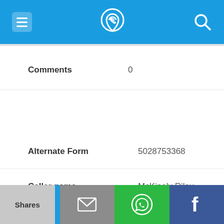[Figure (screenshot): Mobile app top navigation bar with hamburger menu, phone/location logo icon, and search icon on blue background]
Comments   0
[Figure (screenshot): Blue bar with phone icon and number 502-875-3368]
Alternate Form   5028753368
Caller name   McKinely Riley
Last User Search   No searches yet
Comments   0
Shares | email | WhatsApp | Facebook